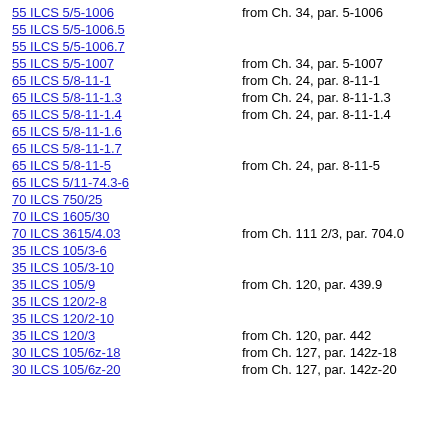55 ILCS 5/5-1006 | from Ch. 34, par. 5-1006
55 ILCS 5/5-1006.5
55 ILCS 5/5-1006.7
55 ILCS 5/5-1007 | from Ch. 34, par. 5-1007
65 ILCS 5/8-11-1 | from Ch. 24, par. 8-11-1
65 ILCS 5/8-11-1.3 | from Ch. 24, par. 8-11-1.3
65 ILCS 5/8-11-1.4 | from Ch. 24, par. 8-11-1.4
65 ILCS 5/8-11-1.6
65 ILCS 5/8-11-1.7
65 ILCS 5/8-11-5 | from Ch. 24, par. 8-11-5
65 ILCS 5/11-74.3-6
70 ILCS 750/25
70 ILCS 1605/30
70 ILCS 3615/4.03 | from Ch. 111 2/3, par. 704.0
35 ILCS 105/3-6
35 ILCS 105/3-10
35 ILCS 105/9 | from Ch. 120, par. 439.9
35 ILCS 120/2-8
35 ILCS 120/2-10
35 ILCS 120/3 | from Ch. 120, par. 442
30 ILCS 105/6z-18 | from Ch. 127, par. 142z-18
30 ILCS 105/6z-20 | from Ch. 127, par. 142z-20